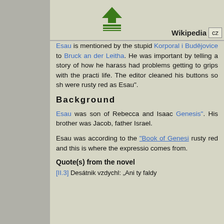[Figure (illustration): Green upload arrow icon with horizontal lines beneath it]
Wikipedia  CZ
Esau is mentioned by the stupid Korporal i Budějovice to Bruck an der Leitha. He was important by telling a story of how he harass had problems getting to grips with the practi life. The editor cleaned his buttons so sh were rusty red as Esau".
Background
Esau was son of Rebecca and Isaac Genesis". His brother was Jacob, father Israel.
Esau was according to the "Book of Genesi rusty red and this is where the expressio comes from.
Quote(s) from the novel
[II.3] Desátnik vzdychl: „Ani ty faldy